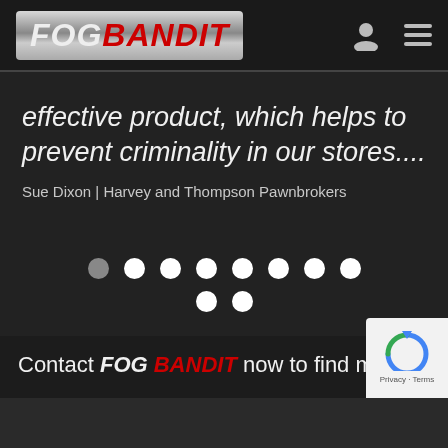[Figure (logo): FOG BANDIT logo on metallic silver background, FOG in white italic bold, BANDIT in red italic bold]
effective product, which helps to prevent criminality in our stores....
Sue Dixon | Harvey and Thompson Pawnbrokers
[Figure (other): Carousel navigation dots: 9 dots total in two rows, first dot is grey/dimmed, rest are white]
Contact FOG BANDIT now to find more